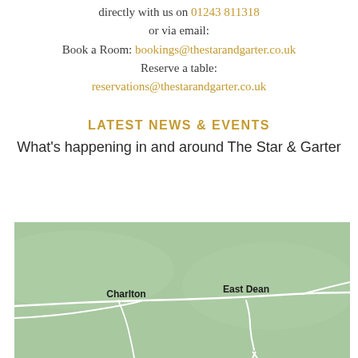directly with us on 01243 811318
or via email:
Book a Room: bookings@thestarandgarter.co.uk
Reserve a table:
reservations@thestarandgarter.co.uk
LATEST NEWS & EVENTS
What's happening in and around The Star & Garter
[Figure (map): Green-tinted map showing Charlton and East Dean locations with white road lines on a sage green background.]